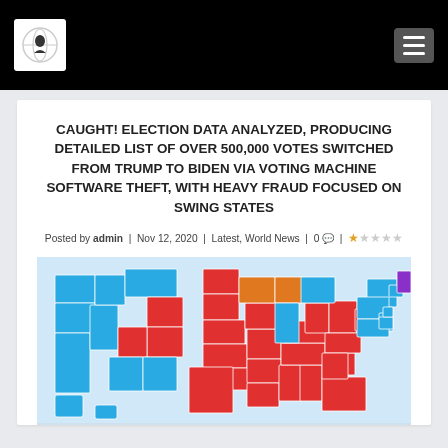Website header with logo and menu button
CAUGHT! ELECTION DATA ANALYZED, PRODUCING DETAILED LIST OF OVER 500,000 VOTES SWITCHED FROM TRUMP TO BIDEN VIA VOTING MACHINE SOFTWARE THEFT, WITH HEAVY FRAUD FOCUSED ON SWING STATES
Posted by admin | Nov 12, 2020 | Latest, World News | 0 | ★☆☆☆☆
[Figure (map): US electoral map showing states colored in blue, red, orange, and purple indicating different voting outcomes or categories]